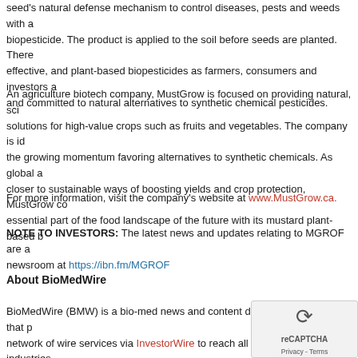seed's natural defense mechanism to control diseases, pests and weeds with biopesticide. The product is applied to the soil before seeds are planted. There effective, and plant-based biopesticides as farmers, consumers and investors a and committed to natural alternatives to synthetic chemical pesticides.
An agriculture biotech company, MustGrow is focused on providing natural, sci solutions for high-value crops such as fruits and vegetables. The company is id the growing momentum favoring alternatives to synthetic chemicals. As global a closer to sustainable ways of boosting yields and crop protection, MustGrow co essential part of the food landscape of the future with its mustard plant-based b
For more information, visit the company's website at www.MustGrow.ca.
NOTE TO INVESTORS: The latest news and updates relating to MGROF are a newsroom at https://ibn.fm/MGROF
About BioMedWire
BioMedWire (BMW) is a bio-med news and content distribution company that p network of wire services via InvestorWire to reach all target markets, industries most effective manner possible, (2) article and editorial syndicatio press release services to ensure maximum impact, (4) social med Network (IBN) to nearly 2 million followers, (5) a full array of corpo total news coverage solution with BMW Prime. As a multifaceted organization